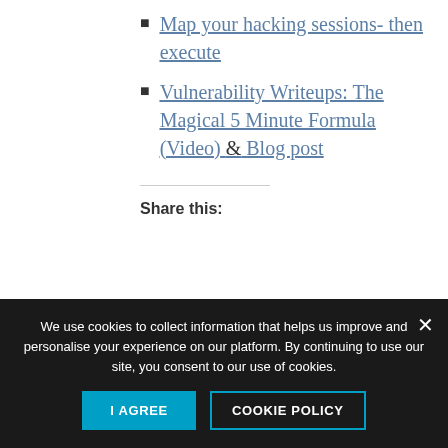Map your hacking sessions- then execute
Vulnerability Writeups: The Magical 5 Minute Formula (Video) & Blog post
Share this:
[Figure (infographic): Social share buttons: Twitter, Facebook, LinkedIn, Reddit, Telegram, WhatsApp, Email]
We use cookies to collect information that helps us improve and personalise your experience on our platform. By continuing to use our site, you consent to our use of cookies.